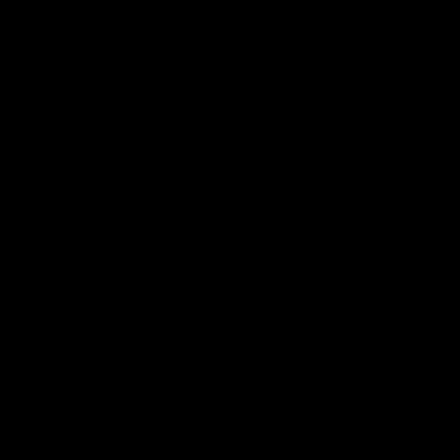works as a comedia under the name Maxwell Plumm - see his web page http://ww - you can book him for your next cabaret show, hen night, Christma